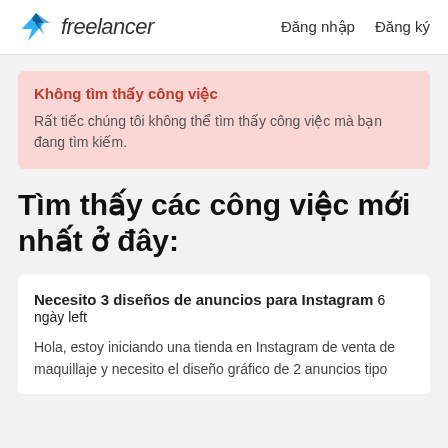freelancer  Đăng nhập  Đăng ký
Không tìm thấy công việc
Rất tiếc chúng tôi không thể tìm thấy công việc mà bạn đang tìm kiếm.
Tìm thấy các công việc mới nhất ở đây:
Necesito 3 diseños de anuncios para Instagram  6 ngày left
Hola, estoy iniciando una tienda en Instagram de venta de maquillaje y necesito el diseño gráfico de 2 anuncios tipo